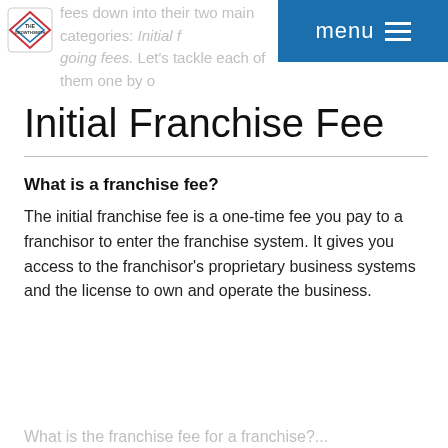fees down into their two main categories: Initial fees. Let's tackle each of them one by one.
Initial Franchise Fee
What is a franchise fee?
The initial franchise fee is a one-time fee you pay to a franchisor to enter the franchise system. It gives you access to the franchisor's proprietary business systems and the license to own and operate the business.
What is the franchise fee for a franchise? (partial, cut off)